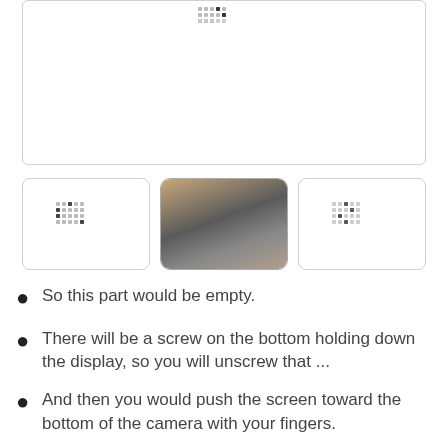[Figure (photo): Main large image placeholder with a small dot/pixel pattern in the upper center area, white background with border]
[Figure (photo): Three thumbnail images in a row: left is a placeholder with dot pattern, center is a photo of camera bottom with screw/display area, right is a placeholder with dot pattern]
So this part would be empty.
There will be a screw on the bottom holding down the display, so you will unscrew that ...
And then you would push the screen toward the bottom of the camera with your fingers.